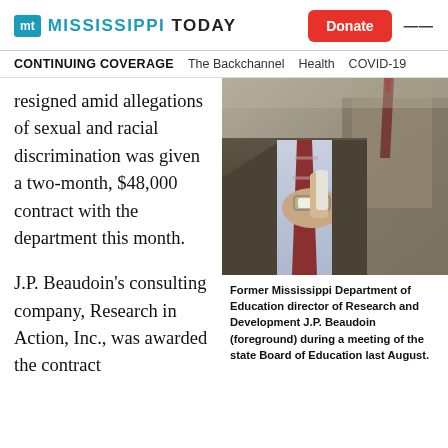MISSISSIPPI TODAY — Donate
CONTINUING COVERAGE  The Backchannel  Health  COVID-19
resigned amid allegations of sexual and racial discrimination was given a two-month, $48,000 contract with the department this month.
[Figure (photo): Man in business suit adjusting cufflinks, wearing a watch, with a striped tie visible. Another suited person in background.]
Former Mississippi Department of Education director of Research and Development J.P. Beaudoin (foreground) during a meeting of the state Board of Education last August.
J.P. Beaudoin's consulting company, Research in Action, Inc., was awarded the contract